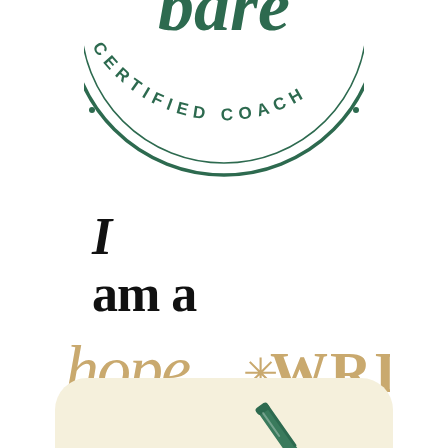[Figure (logo): Circular badge logo in dark green with cursive letters at the top and the text 'CERTIFIED COACH' arranged in an arc around the bottom, with a circular border. Only the bottom portion of the circular badge is visible, partially cropped at the top.]
I
am a
[Figure (logo): Decorative hand-lettered logo text reading 'hope*WRITER' in a tan/gold color, with cursive script for 'hope' and mixed case for '*WRITER'.]
[Figure (illustration): Rounded rectangle with a cream/beige background showing a pencil or pen illustration at the bottom, partially cropped.]